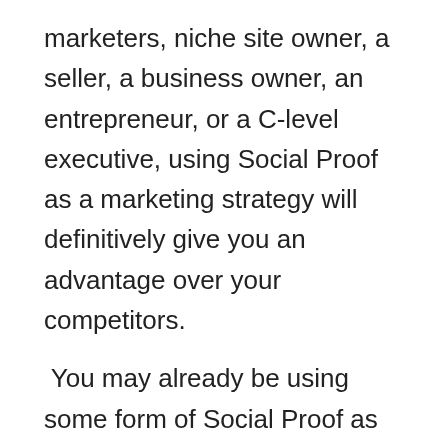marketers, niche site owner, a seller, a business owner, an entrepreneur, or a C-level executive, using Social Proof as a marketing strategy will definitively give you an advantage over your competitors.
You may already be using some form of Social Proof as part of your marketing strategy stack.
Social Proof leverages elements of human psychology that have been developed along with evolution to keep us alive, build bonds with others, and create groups of people that